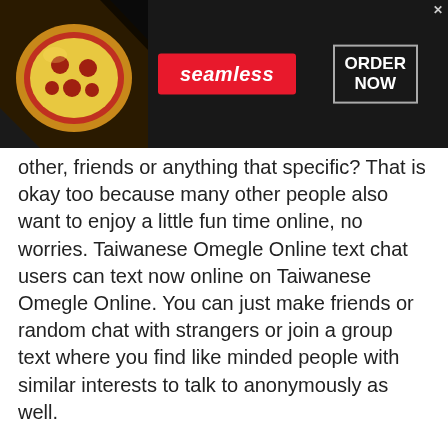[Figure (screenshot): Seamless food delivery advertisement banner with pizza image on left, red Seamless logo in center, and ORDER NOW button on right with dark background]
other, friends or anything that specific? That is okay too because many other people also want to enjoy a little fun time online, no worries. Taiwanese Omegle Online text chat users can text now online on Taiwanese Omegle Online. You can just make friends or random chat with strangers or join a group text where you find like minded people with similar interests to talk to anonymously as well.
User Safety is the first priority
[Figure (screenshot): Ballard Designs advertisement banner showing Up to 30% off Ballard Designs with furniture image and ballarddesigns.com link, plus a circular navigation button on the right]